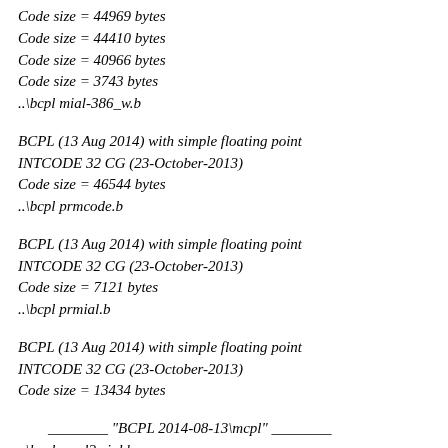Code size = 44969 bytes
Code size = 44410 bytes
Code size = 40966 bytes
Code size = 3743 bytes
..\bcpl mial-386_w.b
BCPL (13 Aug 2014) with simple floating point
INTCODE 32 CG (23-October-2013)
Code size = 46544 bytes
..\bcpl prmcode.b
BCPL (13 Aug 2014) with simple floating point
INTCODE 32 CG (23-October-2013)
Code size = 7121 bytes
..\bcpl prmial.b
BCPL (13 Aug 2014) with simple floating point
INTCODE 32 CG (23-October-2013)
Code size = 13434 bytes
________ "BCPL 2014-08-13\mcpl" ________
..\bcpl mcpl2mial.b
BCPL (13 Aug 2014) with simple floating point
INTCODE 32 CG (23-October-2013)
Code size = 44969 bytes